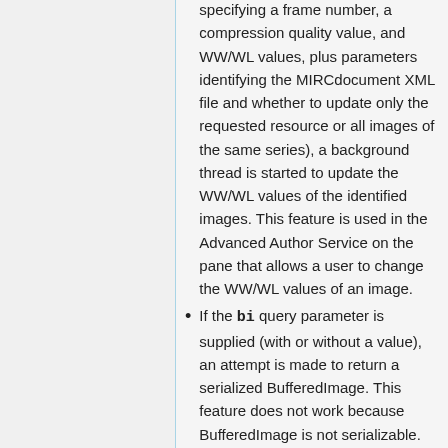specifying a frame number, a compression quality value, and WW/WL values, plus parameters identifying the MIRCdocument XML file and whether to update only the requested resource or all images of the same series), a background thread is started to update the WW/WL values of the identified images. This feature is used in the Advanced Author Service on the pane that allows a user to change the WW/WL values of an image.
If the bi query parameter is supplied (with or without a value), an attempt is made to return a serialized BufferedImage. This feature does not work because BufferedImage is not serializable.